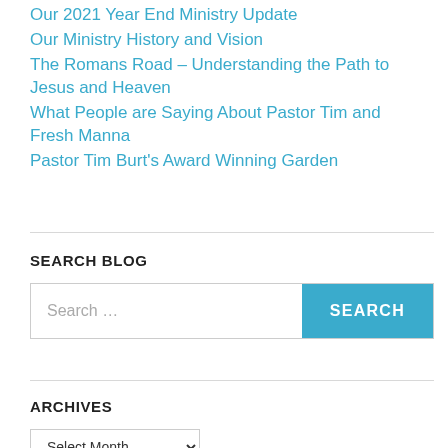Our 2021 Year End Ministry Update
Our Ministry History and Vision
The Romans Road – Understanding the Path to Jesus and Heaven
What People are Saying About Pastor Tim and Fresh Manna
Pastor Tim Burt's Award Winning Garden
SEARCH BLOG
Search …
ARCHIVES
Select Month